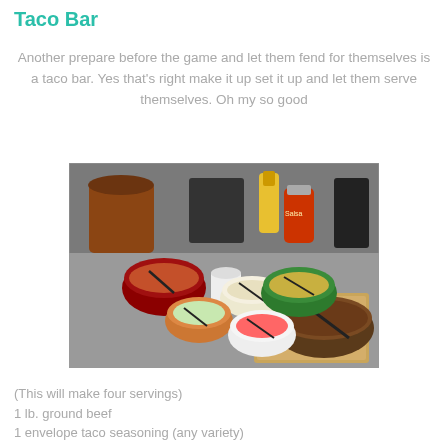Taco Bar
Another prepare before the game and let them fend for themselves is a taco bar. Yes that's right make it up set it up and let them serve themselves. Oh my so good
[Figure (photo): A kitchen counter with various bowls of taco bar ingredients including ground beef, shredded cheese, lettuce, diced tomatoes, and condiments like salsa and sour cream.]
(This will make four servings)
1 lb. ground beef
1 envelope taco seasoning (any variety)